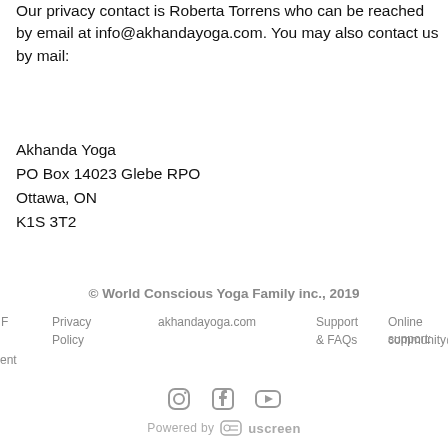Our privacy contact is Roberta Torrens who can be reached by email at info@akhandayoga.com. You may also contact us by mail:
Akhanda Yoga
PO Box 14023 Glebe RPO
Ottawa, ON
K1S 3T2
© World Conscious Yoga Family inc., 2019
Privacy Policy   akhandayoga.com   Support & FAQs   Online support: community@akhandayoga...   ent
Powered by uscreen